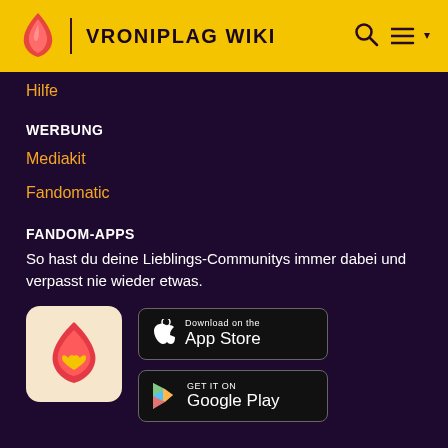VRONIPLAG WIKI
Hilfe
WERBUNG
Mediakit
Fandomatic
FANDOM-APPS
So hast du deine Lieblings-Communitys immer dabei und verpasst nie wieder etwas.
[Figure (logo): Fandom app logo - red flame with yellow heart on beige background]
[Figure (screenshot): Download on the App Store button]
[Figure (screenshot): GET IT ON Google Play button]